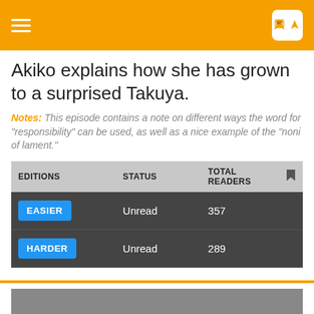Akiko explains how she has grown to a surprised Takuya.
Notes: This episode contains a note on different ways the word for "responsibility" can be used, as well as a nice example of the "noni of lament."
| EDITIONS | STATUS | TOTAL READERS |  |
| --- | --- | --- | --- |
| EASIER | Unread | 357 |  |
| HARDER | Unread | 289 |  |
[Figure (photo): Gray placeholder image area at bottom of page]